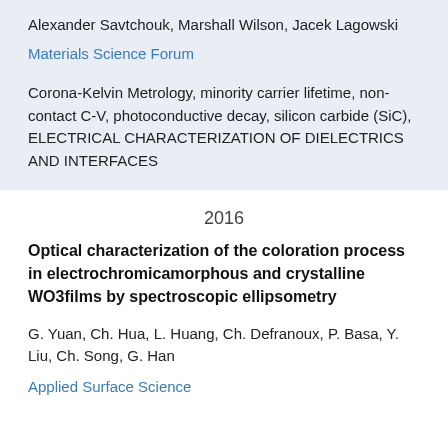Alexander Savtchouk, Marshall Wilson, Jacek Lagowski
Materials Science Forum
Corona-Kelvin Metrology, minority carrier lifetime, non-contact C-V, photoconductive decay, silicon carbide (SiC), ELECTRICAL CHARACTERIZATION OF DIELECTRICS AND INTERFACES
2016
Optical characterization of the coloration process in electrochromicamorphous and crystalline WO3films by spectroscopic ellipsometry
G. Yuan, Ch. Hua, L. Huang, Ch. Defranoux, P. Basa, Y. Liu, Ch. Song, G. Han
Applied Surface Science